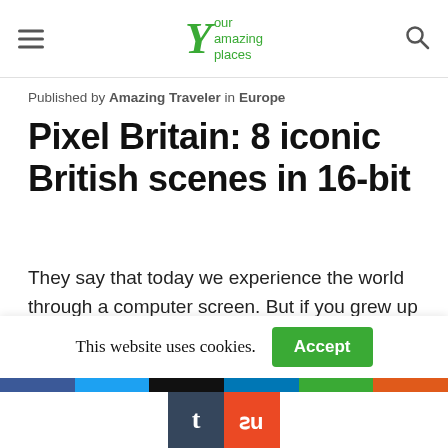Your Amazing Places
Published by Amazing Traveler in Europe
Pixel Britain: 8 iconic British scenes in 16-bit
They say that today we experience the world through a computer screen. But if you grew up in the eighties or nineties, chances are you've built your mental picture of the world from pixels for most of your life! And if you never went anywhere without your early Sega or
This website uses cookies.
[Figure (other): Social media sharing bar with colored strips (Facebook blue, Twitter light blue, black, LinkedIn blue, green, orange-red) and Tumblr and StumbleUpon icon buttons]